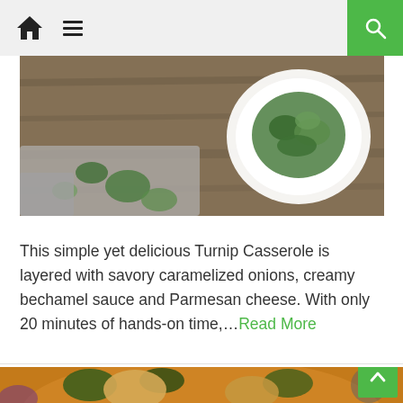Navigation bar with home icon, menu icon, and search button
[Figure (photo): Top-down food photograph showing herbs and a white bowl with chopped greens on a wooden surface]
This simple yet delicious Turnip Casserole is layered with savory caramelized onions, creamy bechamel sauce and Parmesan cheese. With only 20 minutes of hands-on time,...Read More
[Figure (photo): Top-down view of a pot of curry or stew with chicken pieces, vegetables, and dark leafy greens in an orange/yellow sauce, with a ladle and purple flowers on the side]